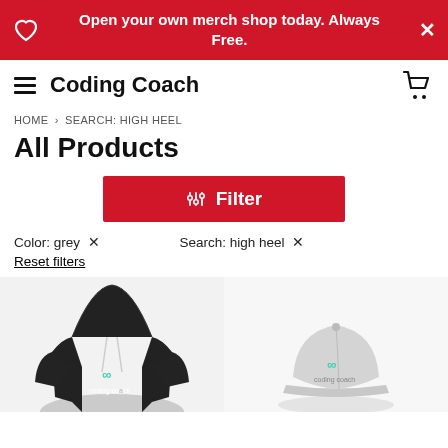Open your own merch shop today. Always Free.
Coding Coach
HOME > SEARCH: HIGH HEEL
All Products
Filter
Color: grey ×
Search: high heel ×
Reset filters
[Figure (photo): Black hoodie with Coding Coach logo and teal infinity symbol]
[Figure (photo): Grey cap with Coding Coach logo and teal infinity symbol]